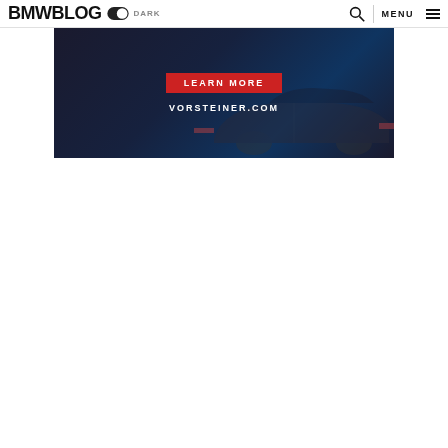BMWBLOG DARK MENU
[Figure (photo): VORSTEINER.COM advertisement banner showing a dark BMW car from the rear with 'LEARN MORE' red button and 'VORSTEINER.COM' text overlay]